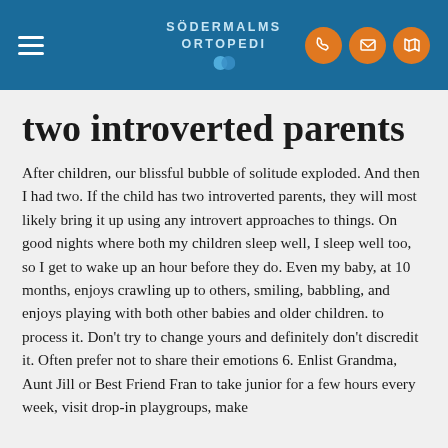SÖDERMALMS ORTOPEDI
two introverted parents
After children, our blissful bubble of solitude exploded. And then I had two. If the child has two introverted parents, they will most likely bring it up using any introvert approaches to things. On good nights where both my children sleep well, I sleep well too, so I get to wake up an hour before they do. Even my baby, at 10 months, enjoys crawling up to others, smiling, babbling, and enjoys playing with both other babies and older children. to process it. Don't try to change yours and definitely don't discredit it. Often prefer not to share their emotions 6. Enlist Grandma, Aunt Jill or Best Friend Fran to take junior for a few hours every week, visit drop-in playgroups, make